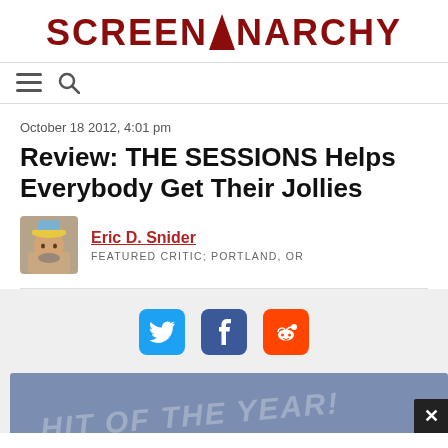SCREENANARCHY
[Figure (other): Navigation icons: hamburger menu and search (magnifier) icons]
October 18 2012, 4:01 pm
Review: THE SESSIONS Helps Everybody Get Their Jollies
[Figure (photo): Author avatar photo of Eric D. Snider wearing a colorful hat]
Eric D. Snider
FEATURED CRITIC; PORTLAND, OR
[Figure (other): Social sharing buttons: Twitter (blue bird), Facebook (blue f), Reddit (orange alien)]
[Figure (other): Movie promotional banner partially visible at bottom: 'HIT OF THE YEAR!' text with close button (X)]